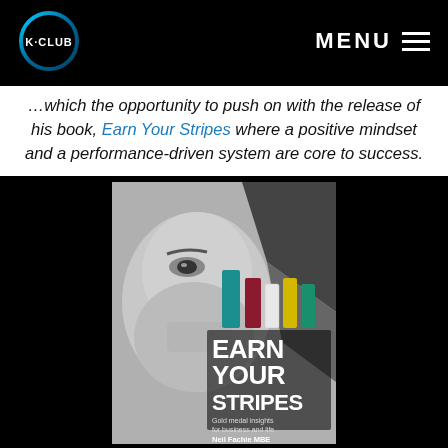K-CLUB   MENU
…which the opportunity to push on with the release of his book, Earn Your Stripes where a positive mindset and a performance-driven system are core to success.
[Figure (photo): Book cover of 'Earn Your Stripes' by Neil Fachie MBE with Foreword by Sir Chris Hoy. Shows a man's face in black and white with coloured stripes (teal, dark red/maroon, white, yellow, green) and bold text: EARN YOUR STRIPES. Subtitle: Gold medal insights for business and life.]